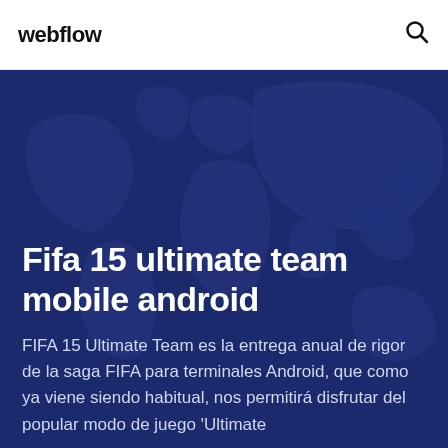webflow
Fifa 15 ultimate team mobile android
FIFA 15 Ultimate Team es la entrega anual de rigor de la saga FIFA para terminales Android, que como ya viene siendo habitual, nos permitirá disfrutar del popular modo de juego 'Ultimate